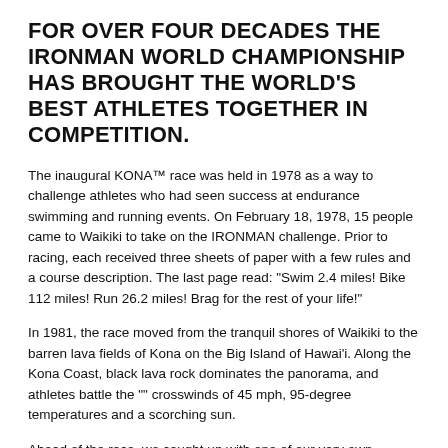FOR OVER FOUR DECADES THE IRONMAN WORLD CHAMPIONSHIP HAS BROUGHT THE WORLD'S BEST ATHLETES TOGETHER IN COMPETITION.
The inaugural KONA™ race was held in 1978 as a way to challenge athletes who had seen success at endurance swimming and running events. On February 18, 1978, 15 people came to Waikiki to take on the IRONMAN challenge. Prior to racing, each received three sheets of paper with a few rules and a course description. The last page read: "Swim 2.4 miles! Bike 112 miles! Run 26.2 miles! Brag for the rest of your life!"
In 1981, the race moved from the tranquil shores of Waikiki to the barren lava fields of Kona on the Big Island of Hawai'i. Along the Kona Coast, black lava rock dominates the panorama, and athletes battle the "" crosswinds of 45 mph, 95-degree temperatures and a scorching sun.
Ahead of the race, we caught up with one of our very own